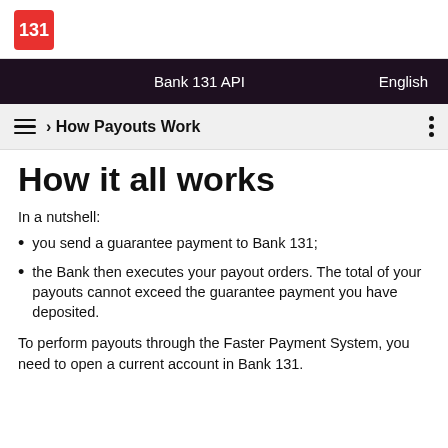Bank 131 API    English
› How Payouts Work
How it all works
In a nutshell:
you send a guarantee payment to Bank 131;
the Bank then executes your payout orders. The total of your payouts cannot exceed the guarantee payment you have deposited.
To perform payouts through the Faster Payment System, you need to open a current account in Bank 131.